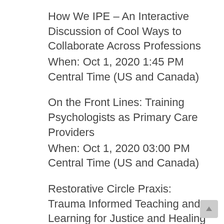How We IPE – An Interactive Discussion of Cool Ways to Collaborate Across Professions
When: Oct 1, 2020 1:45 PM Central Time (US and Canada)
On the Front Lines: Training Psychologists as Primary Care Providers
When: Oct 1, 2020 03:00 PM Central Time (US and Canada)
Restorative Circle Praxis: Trauma Informed Teaching and Learning for Justice and Healing
When: Oct 1, 2020 4:15 PM Central Time